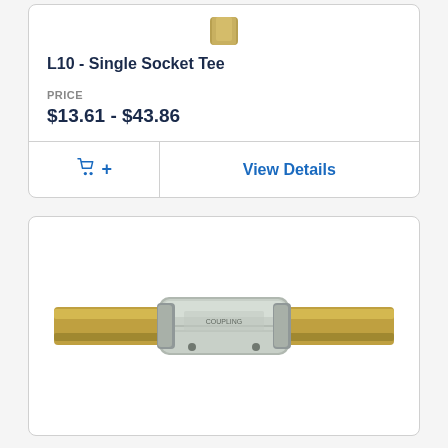[Figure (photo): Partial view of L10 Single Socket Tee brass fitting product image (cropped at top)]
L10 - Single Socket Tee
PRICE
$13.61 - $43.86
+ (add to cart button)
View Details
[Figure (photo): A brass and silver metal pipe coupling/inline fitting connector with cylindrical body, two bolt holes visible on bottom, and brass pipe extensions on each side (left and right)]